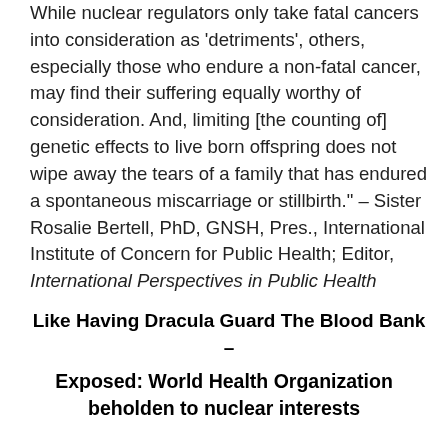While nuclear regulators only take fatal cancers into consideration as 'detriments', others, especially those who endure a non-fatal cancer, may find their suffering equally worthy of consideration. And, limiting [the counting of] genetic effects to live born offspring does not wipe away the tears of a family that has endured a spontaneous miscarriage or stillbirth." – Sister Rosalie Bertell, PhD, GNSH, Pres., International Institute of Concern for Public Health; Editor, International Perspectives in Public Health
Like Having Dracula Guard The Blood Bank –
Exposed: World Health Organization beholden to nuclear interests